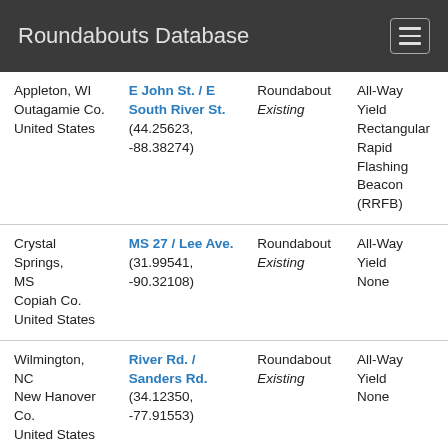Roundabouts Database
| Location | Intersection / Coordinates | Type | Details |
| --- | --- | --- | --- |
| Appleton, WI
Outagamie Co.
United States | E John St. / E South River St.
(44.25623, -88.38274) | Roundabout
Existing | All-Way
Yield
Rectangular
Rapid
Flashing
Beacon
(RRFB) |
| Crystal Springs, MS
Copiah Co.
United States | MS 27 / Lee Ave.
(31.99541, -90.32108) | Roundabout
Existing | All-Way
Yield
None |
| Wilmington, NC
New Hanover Co.
United States | River Rd. / Sanders Rd.
(34.12350, -77.91553) | Roundabout
Existing | All-Way
Yield
None |
| Wilmington, NC
New Hanover | River Rd. / Lorraine Dr. | Roundabout
Existing | All-Way
Yield |